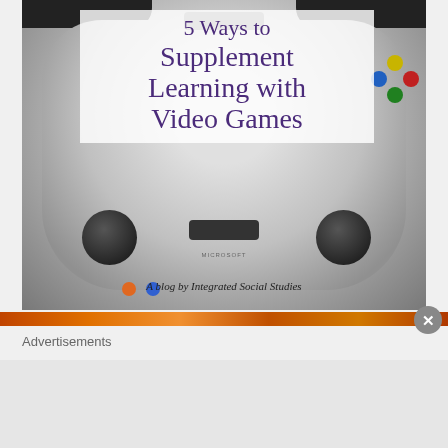[Figure (photo): Photo of a white Xbox 360 video game controller seen from the front/bottom, on a light grey background. A semi-transparent white overlay box sits in the center displaying the article title.]
5 Ways to Supplement Learning with Video Games
A blog by Integrated Social Studies
Advertisements